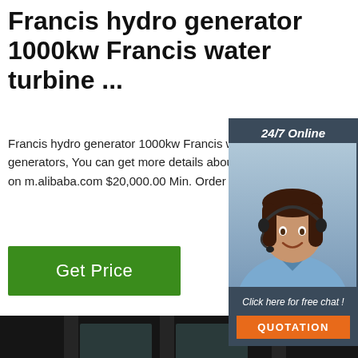Francis hydro generator 1000kw Francis water turbine ...
Francis hydro generator 1000kw Francis turbine generators, You can get more details about from mobile site on m.alibaba.com $20,000.00 Min. Order : 1 Set
[Figure (illustration): Dark-themed sidebar widget with '24/7 Online' header, customer service representative photo (woman with headset smiling), 'Click here for free chat!' text, and orange QUOTATION button]
Get Price
[Figure (photo): Industrial factory floor photo showing cylindrical metal parts/shafts laid horizontally in a dark workshop environment, with a small circular glowing element visible. Orange 'TOP' badge with dots in lower right corner.]